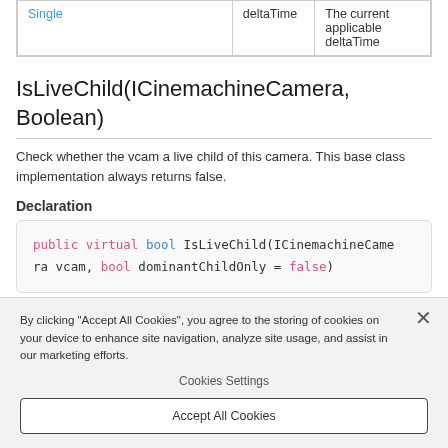|  | deltaTime | The current applicable deltaTime |
| --- | --- | --- |
| Single | deltaTime | The current applicable deltaTime |
IsLiveChild(ICinemachineCamera, Boolean)
Check whether the vcam a live child of this camera. This base class implementation always returns false.
Declaration
public virtual bool IsLiveChild(ICinemachineCamera ra vcam, bool dominantChildOnly = false)
Parameters
| Type | Name | Description |
| --- | --- | --- |
By clicking "Accept All Cookies", you agree to the storing of cookies on your device to enhance site navigation, analyze site usage, and assist in our marketing efforts.
Cookies Settings
Accept All Cookies